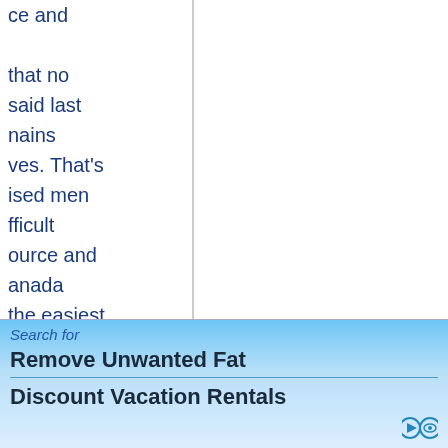ce and

that no
said last
nains
ves. That's
ised men
fficult
ource and
anada
the easiest
College in
ent
isasters,
om people
For a while,
ed
d been
ring one-
Search for
Remove Unwanted Fat
Discount Vacation Rentals